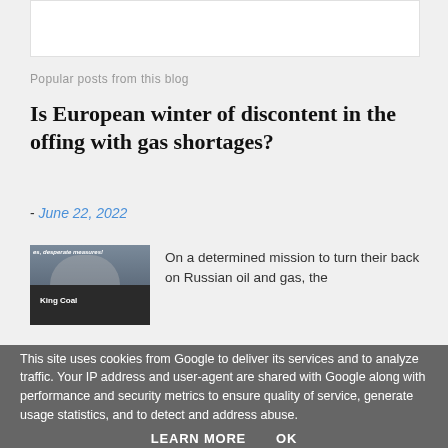[Figure (screenshot): White content box at top of blog sidebar or page]
Popular posts from this blog
Is European winter of discontent in the offing with gas shortages?
- June 22, 2022
[Figure (photo): Thumbnail image showing King Coal text with dark smoky industrial background]
On a determined mission to turn their back on Russian oil and gas, the
This site uses cookies from Google to deliver its services and to analyze traffic. Your IP address and user-agent are shared with Google along with performance and security metrics to ensure quality of service, generate usage statistics, and to detect and address abuse.
LEARN MORE  OK